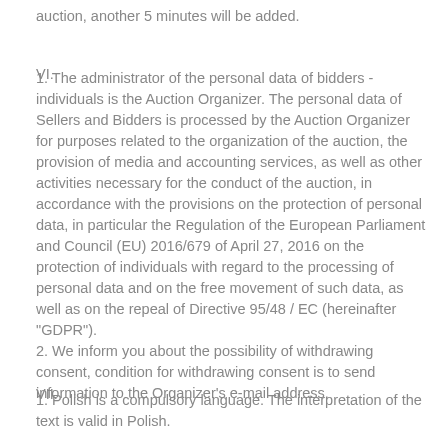auction, another 5 minutes will be added.
VI.
1. The administrator of the personal data of bidders - individuals is the Auction Organizer. The personal data of Sellers and Bidders is processed by the Auction Organizer for purposes related to the organization of the auction, the provision of media and accounting services, as well as other activities necessary for the conduct of the auction, in accordance with the provisions on the protection of personal data, in particular the Regulation of the European Parliament and Council (EU) 2016/679 of April 27, 2016 on the protection of individuals with regard to the processing of personal data and on the free movement of such data, as well as on the repeal of Directive 95/48 / EC (hereinafter "GDPR").
2. We inform you about the possibility of withdrawing consent, condition for withdrawing consent is to send information to the Organizer's e-mail address.
VII.
1. Polish is a compulsory language. The interpretation of the text is valid in Polish.